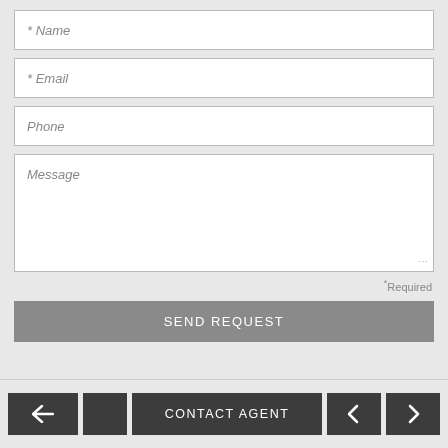[Figure (screenshot): A contact form UI with fields for Name, Email, Phone, and Message, a Required note, and a SEND REQUEST button on a light gray background.]
* Name
* Email
Phone
Message
*Required
SEND REQUEST
CONTACT AGENT